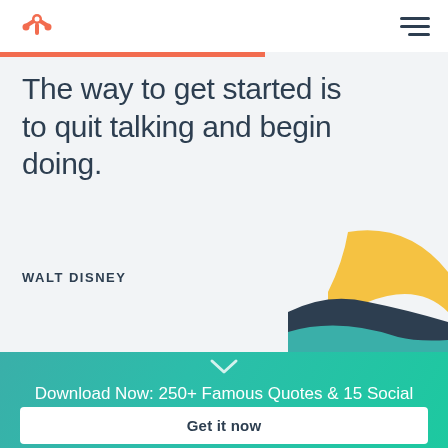[Figure (logo): HubSpot sprocket logo in orange]
[Figure (illustration): Hamburger menu icon — three horizontal dark lines]
[Figure (illustration): Decorative abstract wave shapes in gold, dark navy, and teal at bottom-right of quote section]
The way to get started is to quit talking and begin doing.
WALT DISNEY
[Figure (illustration): Chevron / down-arrow icon in white on teal background]
Download Now: 250+ Famous Quotes & 15 Social Media Image Templates
Get it now